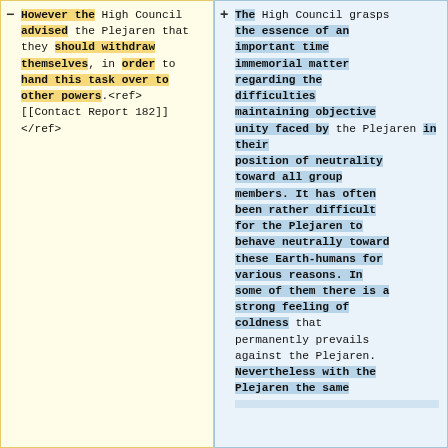However the High Council advised the Plejaren that they should withdraw themselves, in order to hand this task over to other powers.<ref>[[Contact Report 182]]</ref>
The High Council grasps the essence of an important time immemorial matter regarding the difficulties maintaining objective unity faced by the Plejaren in their position of neutrality toward all group members. It has often been rather difficult for the Plejaren to behave neutrally toward these Earth-humans for various reasons. In some of them there is a strong feeling of coldness that permanently prevails against the Plejaren. Nevertheless with the Plejaren the same [continues...]